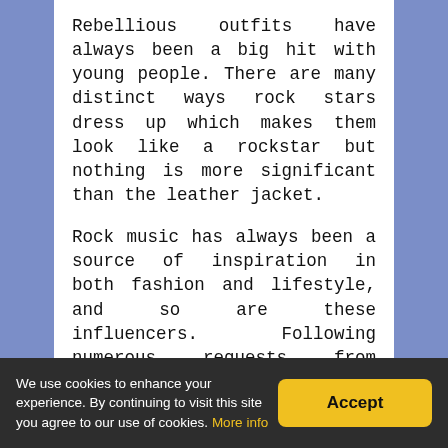Rebellious outfits have always been a big hit with young people. There are many distinct ways rock stars dress up which makes them look like a rockstar but nothing is more significant than the leather jacket.
Rock music has always been a source of inspiration in both fashion and lifestyle, and so are these influencers. Following numerous requests from followers on social networks, they decided to surprise them with their rockstar outfits. Starting with leather jackets and ripped jeans, leather jewelry and various accessories, this
We use cookies to enhance your experience. By continuing to visit this site you agree to our use of cookies. More info